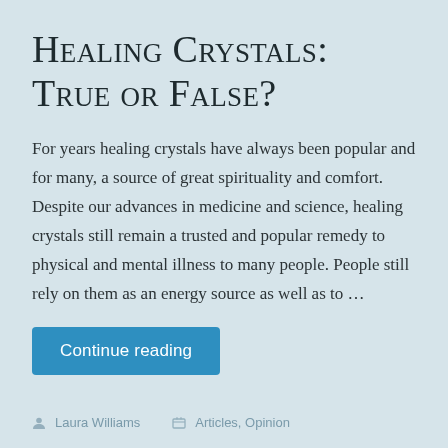Healing Crystals: True or False?
For years healing crystals have always been popular and for many, a source of great spirituality and comfort. Despite our advances in medicine and science, healing crystals still remain a trusted and popular remedy to physical and mental illness to many people. People still rely on them as an energy source as well as to …
Continue reading
Laura Williams   Articles, Opinion